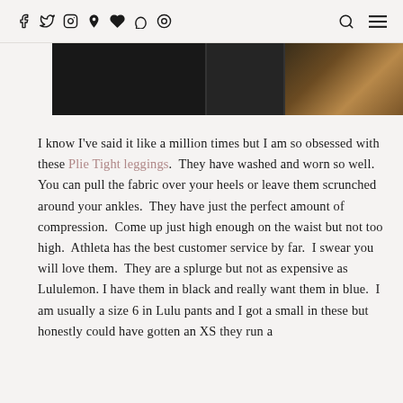Social media icons (Facebook, Twitter, Instagram, Pinterest, Heart, Snapchat, other) and Search, Menu icons
[Figure (photo): Cropped photo strip showing dark leggings/clothing on left two-thirds and a warm-toned wooden floor on the right third]
I know I've said it like a million times but I am so obsessed with these Plie Tight leggings.  They have washed and worn so well.  You can pull the fabric over your heels or leave them scrunched around your ankles.  They have just the perfect amount of compression.  Come up just high enough on the waist but not too high.  Athleta has the best customer service by far.  I swear you will love them.  They are a splurge but not as expensive as Lululemon. I have them in black and really want them in blue.  I am usually a size 6 in Lulu pants and I got a small in these but honestly could have gotten an XS they run a